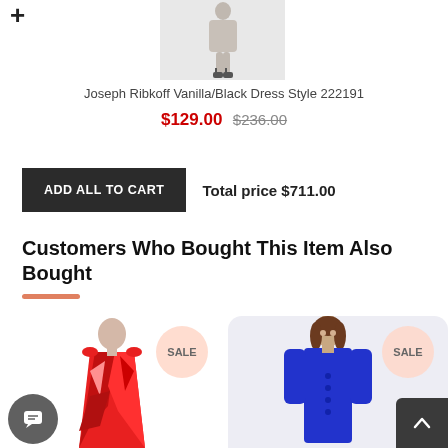[Figure (photo): Product photo thumbnail of Joseph Ribkoff Vanilla/Black Dress Style 222191 showing a model from waist down wearing sandals]
Joseph Ribkoff Vanilla/Black Dress Style 222191
$129.00 $236.00
ADD ALL TO CART   Total price $711.00
Customers Who Bought This Item Also Bought
[Figure (photo): Red geometric print sleeveless dress with SALE badge]
[Figure (photo): Blue 3/4 sleeve fitted dress with button detail and SALE badge]